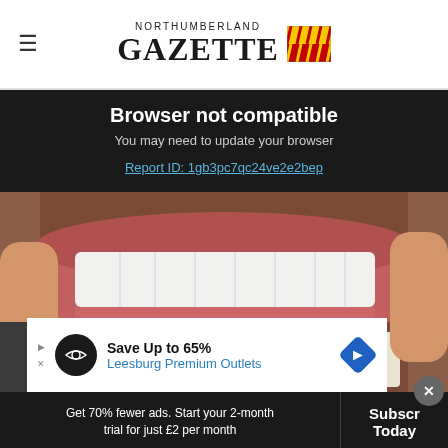Northumberland Gazette
Browser not compatible
You may need to update your browser
Report ID: 1gb3pc7qc24ve2e2bep
[Figure (photo): Close-up photo of a person's mouth showing teeth, with hands pulling back the lips, and dental shade guide in the foreground]
[Figure (infographic): Advertisement banner: Save Up to 65% - Leesburg Premium Outlets]
Get 70% fewer ads. Start your 2-month trial for just £2 per month
Subscribe Today